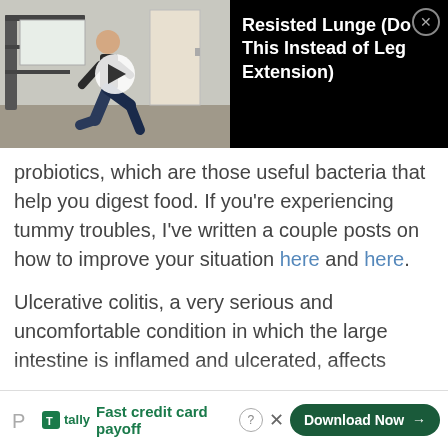[Figure (screenshot): Video thumbnail showing a man doing a lunge exercise in a gym, with play button overlay. Black panel on right with title text.]
Resisted Lunge (Do This Instead of Leg Extension)
probiotics, which are those useful bacteria that help you digest food. If you’re experiencing tummy troubles, I’ve written a couple posts on how to improve your situation here and here.
Ulcerative colitis, a very serious and uncomfortable condition in which the large intestine is inflamed and ulcerated, affects
[Figure (screenshot): Advertisement banner for Tally app at bottom of page. Shows Pinterest icon, Tally logo, text 'Fast credit card payoff', help and close icons, and a dark green 'Download Now' button.]